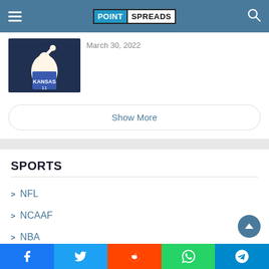POINT SPREADS
March 30, 2022
Show More
SPORTS
NFL
NCAAF
NBA
NCAAB